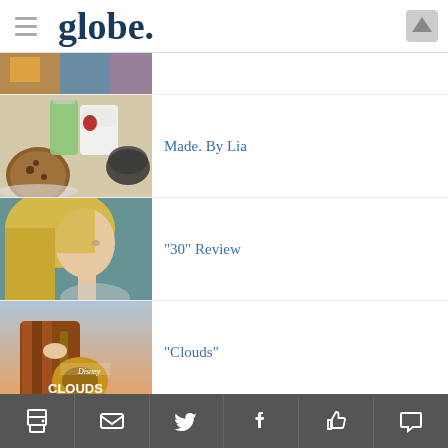globe.
[Figure (photo): Partially visible thumbnail of a colorful scene, cropped at top]
[Figure (photo): Photo of food items including a cookie, matcha drink, and desserts on plates]
Made. By Lia
[Figure (photo): Side profile of a blonde woman against a teal background]
“30” Review
[Figure (photo): Disney Clouds movie poster showing a person with a guitar]
“Clouds”
Print | Email | Twitter | Facebook | Like | Comment